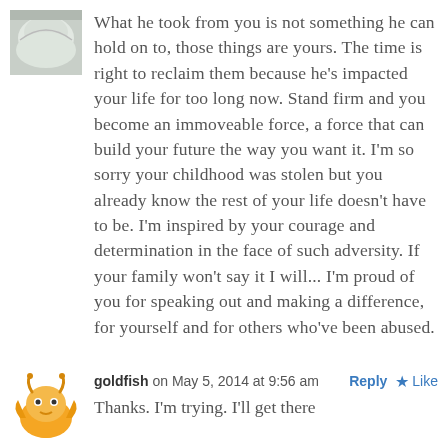[Figure (photo): Small avatar photo showing a white/light colored animal (possibly a cat or rabbit), partially cropped at top]
What he took from you is not something he can hold on to, those things are yours. The time is right to reclaim them because he's impacted your life for too long now. Stand firm and you become an immoveable force, a force that can build your future the way you want it. I'm so sorry your childhood was stolen but you already know the rest of your life doesn't have to be. I'm inspired by your courage and determination in the face of such adversity. If your family won't say it I will... I'm proud of you for speaking out and making a difference, for yourself and for others who've been abused.
[Figure (illustration): Goldfish avatar: an illustrated cartoon goldfish with orange/yellow coloring, with decorative fins, used as a user avatar]
goldfish on May 5, 2014 at 9:56 am
Thanks. I'm trying. I'll get there